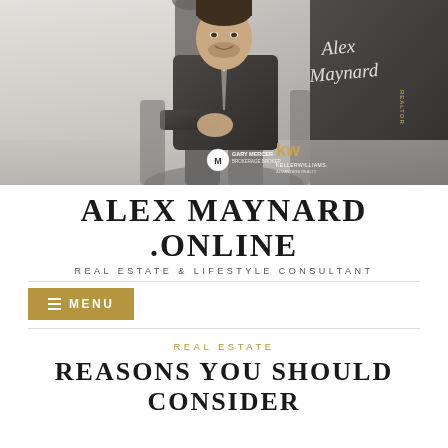[Figure (photo): Professional headshot of Alex Maynard in a suit, seated, with Gary Mercer and Keller Williams logos in the bottom left and a cursive signature overlay on the right side.]
ALEX MAYNARD .ONLINE
REAL ESTATE & LIFESTYLE CONSULTANT
≡ MENU
REAL ESTATE
REASONS YOU SHOULD CONSIDER